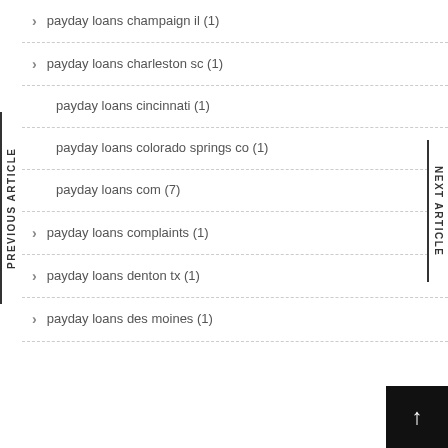payday loans champaign il (1)
payday loans charleston sc (1)
payday loans cincinnati (1)
payday loans colorado springs co (1)
payday loans com (7)
payday loans complaints (1)
payday loans denton tx (1)
payday loans des moines (1)